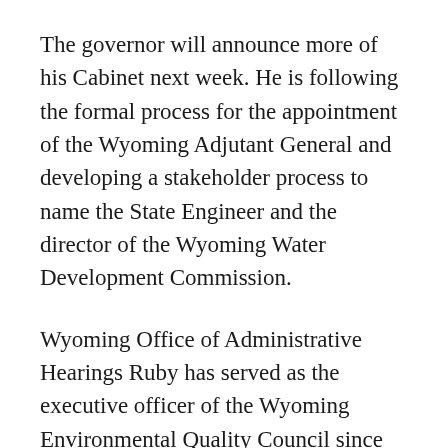The governor will announce more of his Cabinet next week. He is following the formal process for the appointment of the Wyoming Adjutant General and developing a stakeholder process to name the State Engineer and the director of the Wyoming Water Development Commission.
Wyoming Office of Administrative Hearings Ruby has served as the executive officer of the Wyoming Environmental Quality Council since 2008. He replaces Peter Froelicher, who was appointed by Governor Matt Mead to be a District Court Judge in Wyoming's First Judicial District in December 2018. Ruby served as the legal counsel for the Nebraska Legislature for three years and Seward County Attorney in